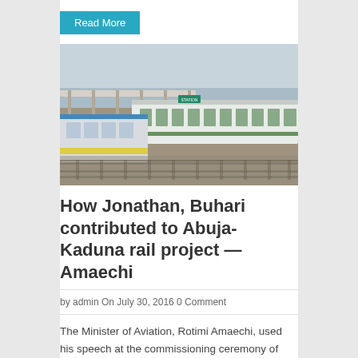Read More
[Figure (photo): A train at a railway station platform, showing multiple passenger carriages on tracks with a covered platform canopy visible.]
How Jonathan, Buhari contributed to Abuja-Kaduna rail project — Amaechi
by admin On July 30, 2016 0 Comment
The Minister of Aviation, Rotimi Amaechi, used his speech at the commissioning ceremony of the..